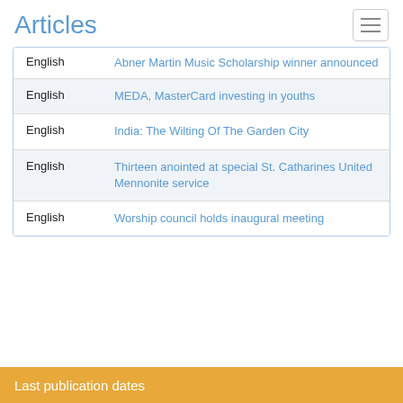Articles
| Language | Article Title |
| --- | --- |
| English | Abner Martin Music Scholarship winner announced |
| English | MEDA, MasterCard investing in youths |
| English | India: The Wilting Of The Garden City |
| English | Thirteen anointed at special St. Catharines United Mennonite service |
| English | Worship council holds inaugural meeting |
Last publication dates